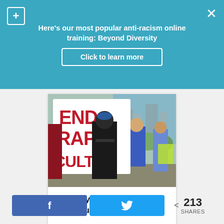Here's our most popular anti-racism online training: Beyond Diversity
Click to learn more
[Figure (photo): Protest photo showing people marching; a large handmade sign reads 'END RAPE CULTURE' in red and black letters. Protesters walk outdoors, some holding signs.]
25 Everyday Examples of Rape Culture
f
< 213 SHARES